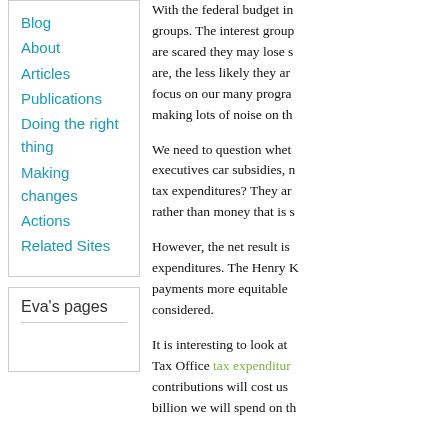Blog
About
Articles
Publications
Doing the right thing
Making changes
Actions
Related Sites
Eva's pages
With the federal budget in... groups. The interest group... are scared they may lose s... are, the less likely they ar... focus on our many progra... making lots of noise on th...
We need to question whet... executives car subsidies, n... tax expenditures? They ar... rather than money that is s...
However, the net result is... expenditures. The Henry K... payments more equitable... considered.
It is interesting to look at... Tax Office tax expenditur... contributions will cost us... billion we will spend on th...